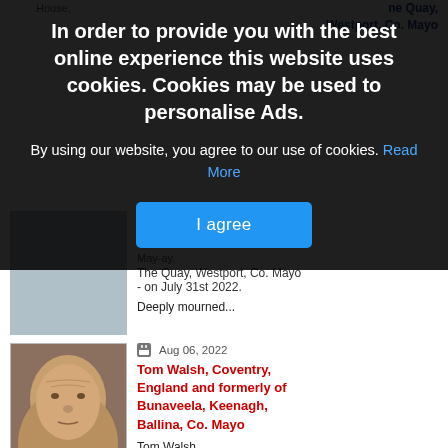In order to provide you with the best online experience this website uses cookies. Cookies may be used to personalise Ads.
By using our website, you agree to our use of cookies. Read More
I agree
[Figure (photo): Portrait photo of elderly man partially visible behind cookie overlay]
The Quay, Westport, Co. Mayo - on July 31st 2022.
Deeply mourned...
Aug 06, 2022
Tom Walsh, Coventry, England and formerly of Bunaveela, Keenagh, Ballina, Co. Mayo
[Figure (photo): Portrait photo of elderly man Tom Walsh]
Tom Walsh,
Coventry, England and formerly of Bunaveela, Keenagh, Ballina, Co....
Aug 06, 2022
[Figure (photo): Partial portrait photo at bottom of page]